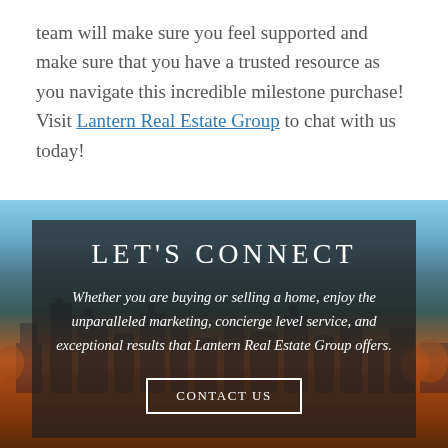team will make sure you feel supported and make sure that you have a trusted resource as you navigate this incredible milestone purchase! Visit Lantern Real Estate Group to chat with us today!
[Figure (photo): City skyline background photo with autumn trees, overlaid with a dark semi-transparent box containing 'LET'S CONNECT' heading, italic tagline about buying or selling, and a CONTACT US button]